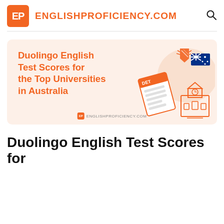EP ENGLISHPROFICIENCY.COM
[Figure (illustration): Banner image for 'Duolingo English Test Scores for the Top Universities in Australia' featuring orange text on a peach background with illustrations of a DET score document, a shield/laurel emblem, an Australian flag, and a university building icon. ENGLISHPROFICIENCY.COM watermark at the bottom.]
Duolingo English Test Scores for